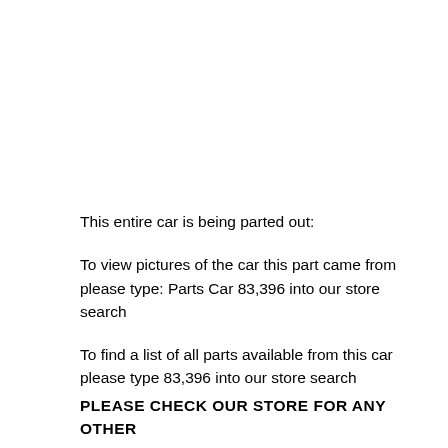This entire car is being parted out:
To view pictures of the car this part came from please type: Parts Car 83,396 into our store search
To find a list of all parts available from this car please type 83,396 into our store search
PLEASE CHECK OUR STORE FOR ANY OTHER